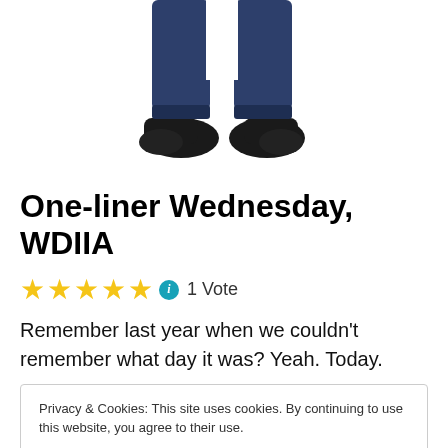[Figure (illustration): Lower body of a cartoon character wearing dark blue pants and black shoes, cropped at the waist]
One-liner Wednesday, WDIIA
★★★★★ ℹ 1 Vote
Remember last year when we couldn't remember what day it was? Yeah. Today.
Privacy & Cookies: This site uses cookies. By continuing to use this website, you agree to their use.
To find out more, including how to control cookies, see here: Cookie Policy
Close and accept